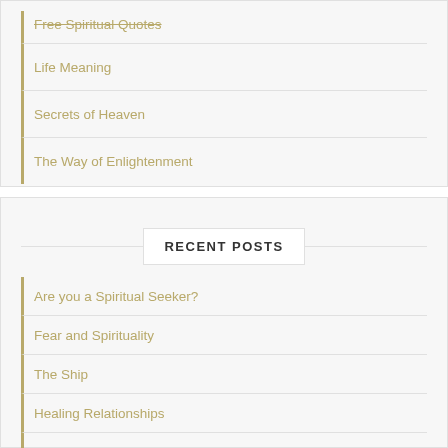Free Spiritual Quotes
Life Meaning
Secrets of Heaven
The Way of Enlightenment
RECENT POSTS
Are you a Spiritual Seeker?
Fear and Spirituality
The Ship
Healing Relationships
Apocalypse Unveils